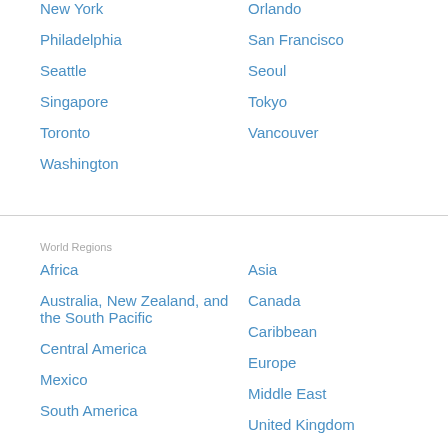New York
Philadelphia
Seattle
Singapore
Toronto
Washington
Orlando
San Francisco
Seoul
Tokyo
Vancouver
World Regions
Africa
Australia, New Zealand, and the South Pacific
Central America
Mexico
South America
Asia
Canada
Caribbean
Europe
Middle East
United Kingdom